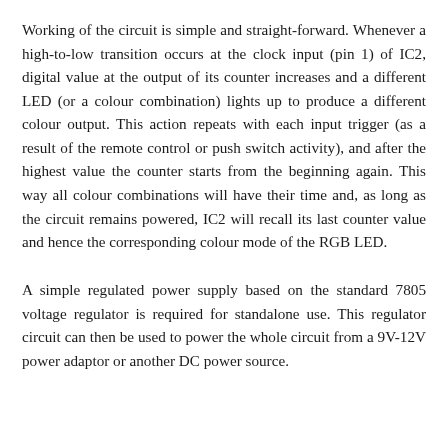Working of the circuit is simple and straight-forward. Whenever a high-to-low transition occurs at the clock input (pin 1) of IC2, digital value at the output of its counter increases and a different LED (or a colour combination) lights up to produce a different colour output. This action repeats with each input trigger (as a result of the remote control or push switch activity), and after the highest value the counter starts from the beginning again. This way all colour combinations will have their time and, as long as the circuit remains powered, IC2 will recall its last counter value and hence the corresponding colour mode of the RGB LED.
A simple regulated power supply based on the standard 7805 voltage regulator is required for standalone use. This regulator circuit can then be used to power the whole circuit from a 9V-12V power adaptor or another DC power source.